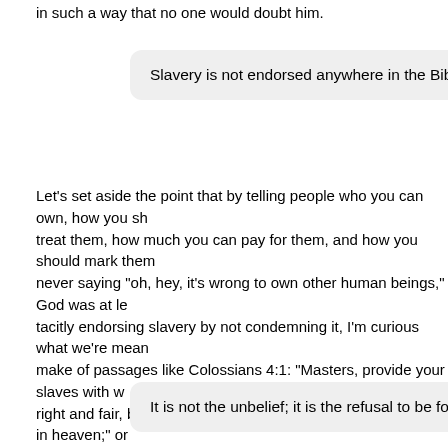in such a way that no one would doubt him.
Slavery is not endorsed anywhere in the Bible.
Let's set aside the point that by telling people who you can own, how you should treat them, how much you can pay for them, and how you should mark them, never saying "oh, hey, it's wrong to own other human beings," God was at least tacitly endorsing slavery by not condemning it, I'm curious what we're meant to make of passages like Colossians 4:1: "Masters, provide your slaves with what is right and fair, because you know that you also have a Master in heaven;" or Luke 12:46-47, where God is favorably compared to a slave's master who beats his servants "with many stripes;" or Exodus 21:20-21, where it says it's okay to beat slaves as long as they live for a couple of days afterward, "since the slave is his property;" or Exodus 21:16, where the death penalty is prescribed for anyone who steal slaves? In any of these--and the dozens of other passages where God lays out specific rules for slave ownership and treatment--God could have said "thou shalt not own another human being" and be done with it. How is that not endorsement?
It is not the unbelief; it is the refusal to be forgiven.
How do you refuse to be forgiven? That doesn't even make sense. I can forgive people even if they don't know about it. If someone cuts me off in traffic, it's